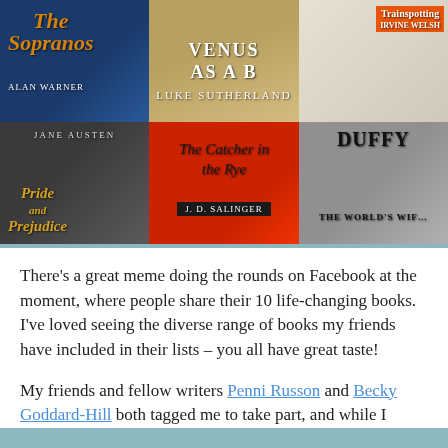[Figure (photo): A 2x3 grid of book cover photos showing: The Sopranos by Alan Warner, Venus as a Boy by Luke Sutherland, Trainspotting by Irvine Welsh, Pride and Prejudice by Jane Austen, The Catcher in the Rye by J.D. Salinger, and a Carol Ann Duffy book (The World's Wife)]
There's a great meme doing the rounds on Facebook at the moment, where people share their 10 life-changing books. I've loved seeing the diverse range of books my friends have included in their lists – you all have great taste!
My friends and fellow writers Penni Russon and Becky Goddard-Hill both tagged me to take part, and while I